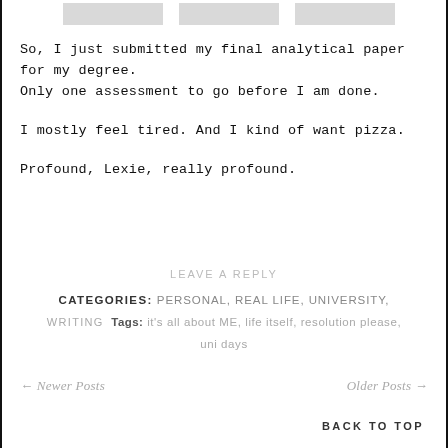[Figure (other): Top navigation tabs — three grey rectangular tab elements at the top of the page]
So, I just submitted my final analytical paper for my degree. Only one assessment to go before I am done.

I mostly feel tired. And I kind of want pizza.

Profound, Lexie, really profound.
LEAVE A REPLY
CATEGORIES: PERSONAL, REAL LIFE, UNIVERSITY,
WRITING  Tags: it's all about ME, life itself, resolution please,
uni days
← Newer Posts    Older Posts →
BACK TO TOP